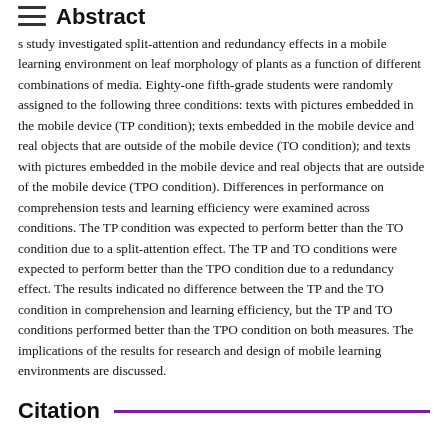Abstract
s study investigated split-attention and redundancy effects in a mobile learning environment on leaf morphology of plants as a function of different combinations of media. Eighty-one fifth-grade students were randomly assigned to the following three conditions: texts with pictures embedded in the mobile device (TP condition); texts embedded in the mobile device and real objects that are outside of the mobile device (TO condition); and texts with pictures embedded in the mobile device and real objects that are outside of the mobile device (TPO condition). Differences in performance on comprehension tests and learning efficiency were examined across conditions. The TP condition was expected to perform better than the TO condition due to a split-attention effect. The TP and TO conditions were expected to perform better than the TPO condition due to a redundancy effect. The results indicated no difference between the TP and the TO condition in comprehension and learning efficiency, but the TP and TO conditions performed better than the TPO condition on both measures. The implications of the results for research and design of mobile learning environments are discussed.
Citation